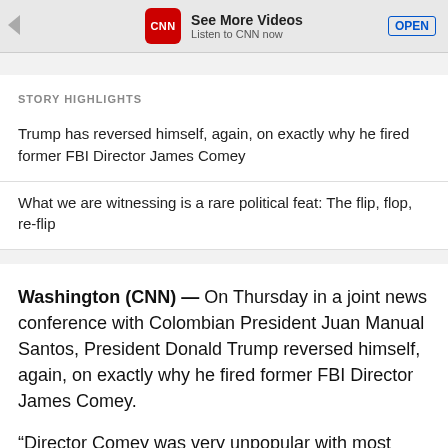[Figure (screenshot): CNN app advertisement banner with CNN logo, 'See More Videos' text, 'Listen to CNN now' subtext, and OPEN button]
STORY HIGHLIGHTS
Trump has reversed himself, again, on exactly why he fired former FBI Director James Comey
What we are witnessing is a rare political feat: The flip, flop, re-flip
Washington (CNN) — On Thursday in a joint news conference with Colombian President Juan Manual Santos, President Donald Trump reversed himself, again, on exactly why he fired former FBI Director James Comey.
“Director Comey was very unpopular with most